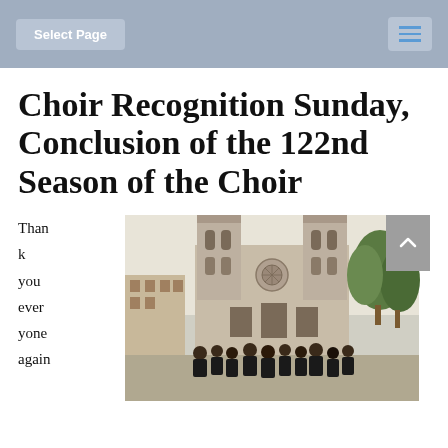Select Page
Choir Recognition Sunday, Conclusion of the 122nd Season of the Choir
Thank you everyone again
[Figure (photo): Group photo of choir members standing in front of Notre-Dame Cathedral in Paris, with the gothic facade visible behind them and trees on the right side.]